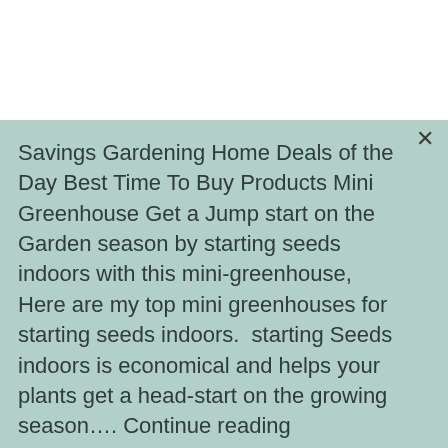Savings Gardening Home Deals of the Day Best Time To Buy Products Mini Greenhouse Get a Jump start on the Garden season by starting seeds indoors with this mini-greenhouse, Here are my top mini greenhouses for starting seeds indoors. starting Seeds indoors is economical and helps your plants get a head-start on the growing season.... Continue reading